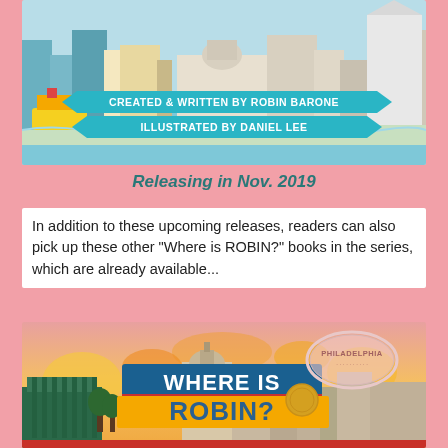[Figure (illustration): Book cover illustration showing a cityscape (Washington D.C. area) with sky-blue background, buildings, ferry boat, and two teal banner ribbons reading 'CREATED & WRITTEN BY ROBIN BARONE' and 'ILLUSTRATED BY DANIEL LEE']
Releasing in Nov. 2019
In addition to these upcoming releases, readers can also pick up these other "Where is ROBIN?" books in the series, which are already available...
[Figure (illustration): Book cover for 'Where is ROBIN? Philadelphia' showing a skyline with city buildings, warm orange/pink sky, and the title text 'WHERE IS ROBIN?' with a Philadelphia badge/stamp in upper right]